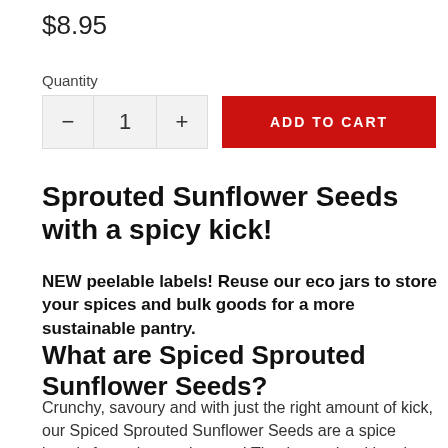$8.95
Quantity
ADD TO CART
Sprouted Sunflower Seeds with a spicy kick!
NEW peelable labels! Reuse our eco jars to store your spices and bulk goods for a more sustainable pantry.
What are Spiced Sprouted Sunflower Seeds?
Crunchy, savoury and with just the right amount of kick, our Spiced Sprouted Sunflower Seeds are a spice lover's favourite meal topper! They're made with only the most